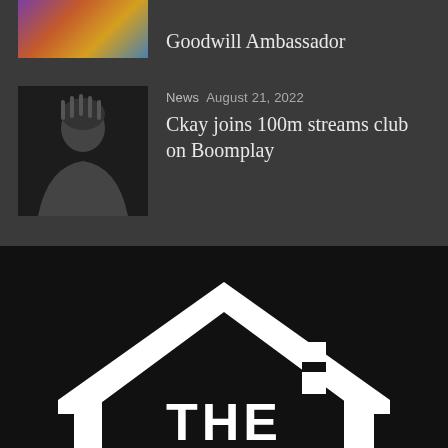[Figure (photo): Colorful artwork thumbnail partially visible at top]
Goodwill Ambassador
[Figure (photo): Black and white portrait photo of Ckay]
News  August 21, 2022
Ckay joins 100m streams club on Boomplay
[Figure (logo): The Lagos House logo — white house/building outline with text THE LAGOS on black background]